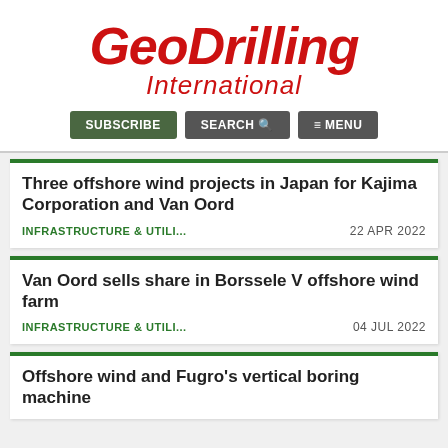GeoDrilling International
SUBSCRIBE | SEARCH | MENU
Three offshore wind projects in Japan for Kajima Corporation and Van Oord
INFRASTRUCTURE & UTILI...   22 APR 2022
Van Oord sells share in Borssele V offshore wind farm
INFRASTRUCTURE & UTILI...   04 JUL 2022
Offshore wind and Fugro's vertical boring machine